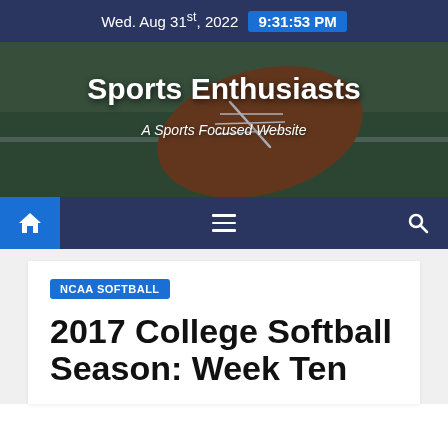Wed. Aug 31st, 2022  9:31:53 PM
[Figure (photo): Football on grass field with Sports Enthusiasts website header overlay]
Sports Enthusiasts
A Sports Focused Website
[Figure (infographic): Navigation bar with home icon, hamburger menu, and search icon on dark blue background]
NCAA SOFTBALL
2017 College Softball Season: Week Ten